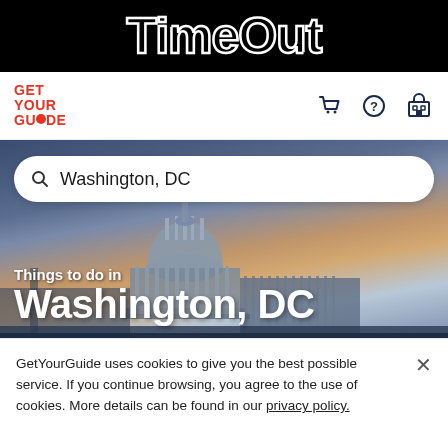TimeOut
[Figure (logo): GetYourGuide logo in red bold text, with shopping cart, help, and account icons on the right]
[Figure (photo): Hero image of Washington DC Capitol building at dusk/sunset with a search bar reading 'Washington, DC' and overlaid text 'Things to do in Washington, DC']
GetYourGuide uses cookies to give you the best possible service. If you continue browsing, you agree to the use of cookies. More details can be found in our privacy policy.